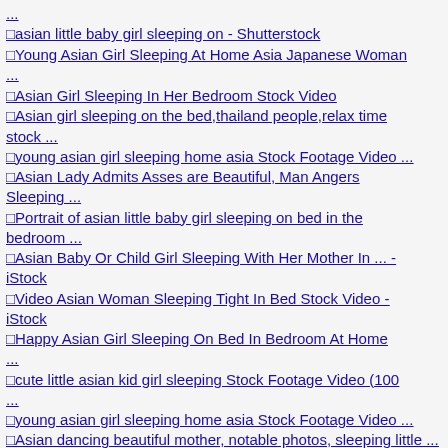...
□asian little baby girl sleeping on - Shutterstock
□Young Asian Girl Sleeping At Home Asia Japanese Woman ...
□Asian Girl Sleeping In Her Bedroom Stock Video
□Asian girl sleeping on the bed,thailand people,relax time stock ...
□young asian girl sleeping home asia Stock Footage Video ...
□Asian Lady Admits Asses are Beautiful, Man Angers Sleeping ...
□Portrait of asian little baby girl sleeping on bed in the bedroom ...
□Asian Baby Or Child Girl Sleeping With Her Mother In ... - iStock
□Video Asian Woman Sleeping Tight In Bed Stock Video - iStock
□Happy Asian Girl Sleeping On Bed In Bedroom At Home ...
□cute little asian kid girl sleeping Stock Footage Video (100 ...
□young asian girl sleeping home asia Stock Footage Video ...
□Asian dancing beautiful mother, notable photos, sleeping little ...